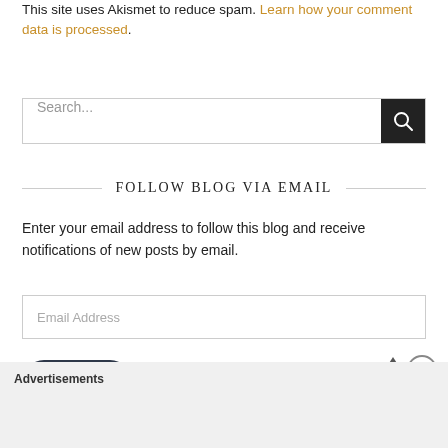This site uses Akismet to reduce spam. Learn how your comment data is processed.
[Figure (screenshot): Search input box with dark search button on the right]
FOLLOW BLOG VIA EMAIL
Enter your email address to follow this blog and receive notifications of new posts by email.
[Figure (screenshot): Email Address input field]
[Figure (screenshot): Follow button (dark rounded rectangle)]
Advertisements